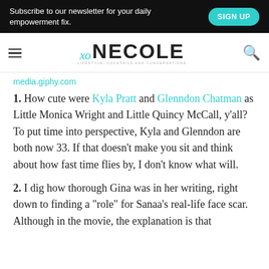Subscribe to our newsletter for your daily empowerment fix.   SIGN UP
[Figure (logo): xo NECOLE logo with hamburger menu and search icon]
media.giphy.com
1. How cute were Kyla Pratt and Glenndon Chatman as Little Monica Wright and Little Quincy McCall, y'all? To put time into perspective, Kyla and Glenndon are both now 33. If that doesn't make you sit and think about how fast time flies by, I don't know what will.
2. I dig how thorough Gina was in her writing, right down to finding a "role" for Sanaa's real-life face scar. Although in the movie, the explanation is that